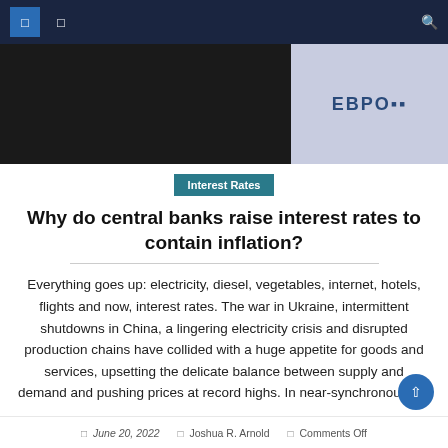Navigation bar with icons and search
[Figure (photo): Hero image showing dark fabric/clothing on left side and light purple/blue currency note background on right side with partial text 'EBPO']
Interest Rates
Why do central banks raise interest rates to contain inflation?
Everything goes up: electricity, diesel, vegetables, internet, hotels, flights and now, interest rates. The war in Ukraine, intermittent shutdowns in China, a lingering electricity crisis and disrupted production chains have collided with a huge appetite for goods and services, upsetting the delicate balance between supply and demand and pushing prices at record highs. In near-synchronous [...]
June 20, 2022   Joshua R. Arnold   Comments Off